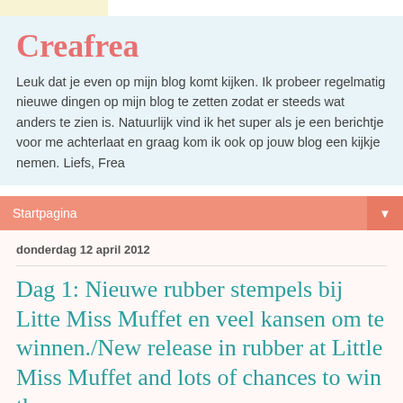Creafrea
Leuk dat je even op mijn blog komt kijken. Ik probeer regelmatig nieuwe dingen op mijn blog te zetten zodat er steeds wat anders te zien is. Natuurlijk vind ik het super als je een berichtje voor me achterlaat en graag kom ik ook op jouw blog een kijkje nemen. Liefs, Frea
Startpagina
donderdag 12 april 2012
Dag 1: Nieuwe rubber stempels bij Litte Miss Muffet en veel kansen om te winnen./New release in rubber at Little Miss Muffet and lots of chances to win them.